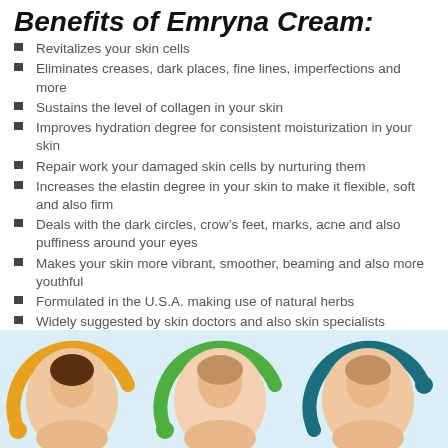Benefits of Emryna Cream:
Revitalizes your skin cells
Eliminates creases, dark places, fine lines, imperfections and more
Sustains the level of collagen in your skin
Improves hydration degree for consistent moisturization in your skin
Repair work your damaged skin cells by nurturing them
Increases the elastin degree in your skin to make it flexible, soft and also firm
Deals with the dark circles, crow’s feet, marks, acne and also puffiness around your eyes
Makes your skin more vibrant, smoother, beaming and also more youthful
Formulated in the U.S.A. making use of natural herbs
Widely suggested by skin doctors and also skin specialists
Proper for all skin kinds
[Figure (illustration): Three circular framed photos of women demonstrating skincare routines, with orange, green, and teal decorative arcs, on a light blue background]